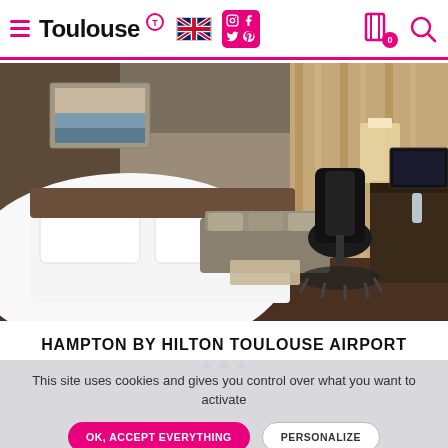Toulouse — navigation header with logo, UK flag, social icons, bookmark (0), search
[Figure (photo): Hotel room interior at Hampton by Hilton Toulouse Airport — large white bed on left, grey sofa in background, black office chair, dark wood desk, warm curtains, floor lamp, wall art above bed]
HAMPTON BY HILTON TOULOUSE AIRPORT
This site uses cookies and gives you control over what you want to activate
OK, ACCEPT EVERYTHING
PERSONALIZE
DISAGREE TO ALL